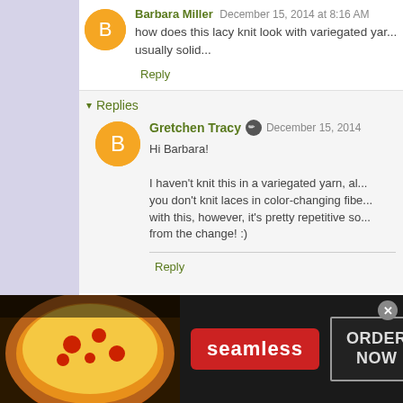Barbara Miller December 15, 2014 at 8:16 AM
how does this lacy knit look with variegated yarn, usually solid...
Reply
Replies
Gretchen Tracy December 15, 2014
Hi Barbara!
I haven't knit this in a variegated yarn, although you don't knit laces in color-changing fibe with this, however, it's pretty repetitive so from the change! :)
Reply
[Figure (photo): Seamless food delivery advertisement banner with pizza image, red Seamless logo, and ORDER NOW button]